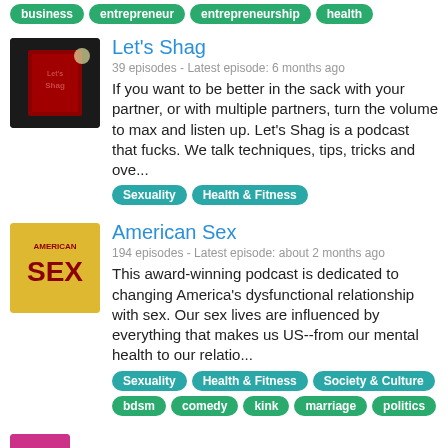business  entrepreneur  entrepreneurship  health
[Figure (photo): Let's Shag podcast thumbnail - dark red background with book/title design]
Let's Shag
39 episodes - Latest episode: 6 months ago
If you want to be better in the sack with your partner, or with multiple partners, turn the volume to max and listen up. Let's Shag is a podcast that fucks. We talk techniques, tips, tricks and ove...
Sexuality  Health & Fitness
[Figure (photo): American Sex podcast thumbnail - yellow background with bold SEX text]
American Sex
194 episodes - Latest episode: about 2 months ago
This award-winning podcast is dedicated to changing America's dysfunctional relationship with sex. Our sex lives are influenced by everything that makes us US--from our mental health to our relatio...
Sexuality  Health & Fitness  Society & Culture  bdsm  comedy  kink  marriage  politics
[Figure (photo): Clit Talk podcast thumbnail - pink/magenta background]
Clit Talk